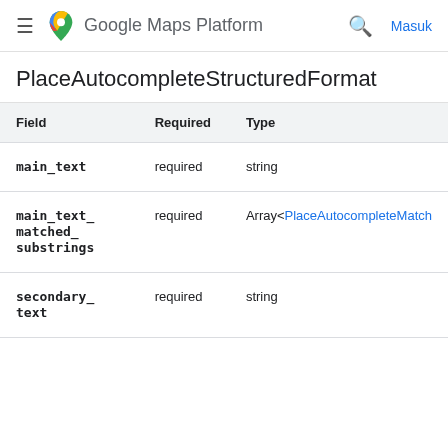≡  Google Maps Platform  🔍  Masuk
PlaceAutocompleteStructuredFormat
| Field | Required | Type |
| --- | --- | --- |
| main_text | required | string |
| main_text_matched_substrings | required | Array<PlaceAutocompleteMatch... |
| secondary_text | required | string |